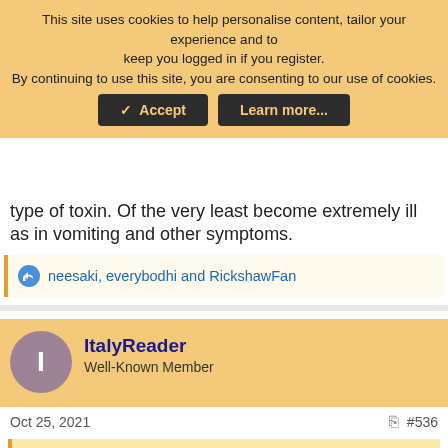This site uses cookies to help personalise content, tailor your experience and to keep you logged in if you register. By continuing to use this site, you are consenting to our use of cookies.
type of toxin. Of the very least become extremely ill as in vomiting and other symptoms.
neesaki, everybodhi and RickshawFan
ItalyReader
Well-Known Member
Oct 25, 2021
#536
Lex Parsimoniae said:
[Figure (screenshot): Advertisement showing women's clothing from Modlily with multiple dress/top images]